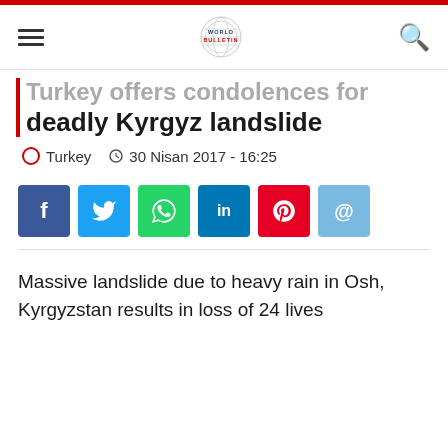World Bulletin
Turkey offers condolences for deadly Kyrgyz landslide
Turkey  30 Nisan 2017 - 16:25
[Figure (infographic): Social media share buttons: Facebook, Twitter, WhatsApp, LinkedIn, Pinterest, Email]
Massive landslide due to heavy rain in Osh, Kyrgyzstan results in loss of 24 lives